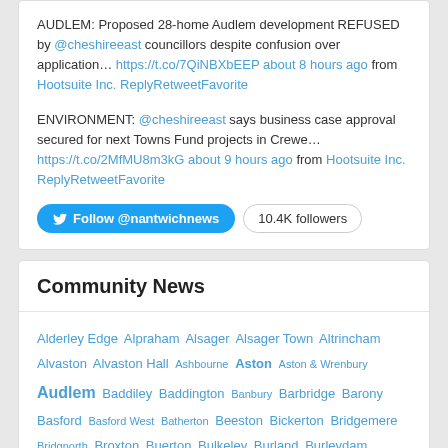AUDLEM: Proposed 28-home Audlem development REFUSED by @cheshireeast councillors despite confusion over application… https://t.co/7QiNBXbEEP about 8 hours ago from Hootsuite Inc. ReplyRetweetFavorite
ENVIRONMENT: @cheshireeast says business case approval secured for next Towns Fund projects in Crewe… https://t.co/2MfMU8m3kG about 9 hours ago from Hootsuite Inc. ReplyRetweetFavorite
Follow @nantwichnews | 10.4K followers
Community News
Alderley Edge Alpraham Alsager Alsager Town Altrincham Alvaston Alvaston Hall Ashbourne Aston Aston & Wrenbury Audlem Baddiley Baddington Banbury Barbridge Barony Basford Basford West Batherton Beeston Bickerton Bridgemere Bridgnorth Broxton Buerton Bulkeley Burland Burleydam Burnley